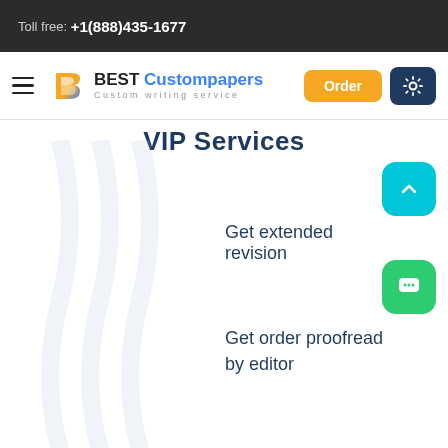Toll free: +1(888)435-1677
[Figure (logo): BEST Custompapers logo with blue B icon and tagline Custom writing service]
VIP Services
Get extended revision
Get order proofread by editor